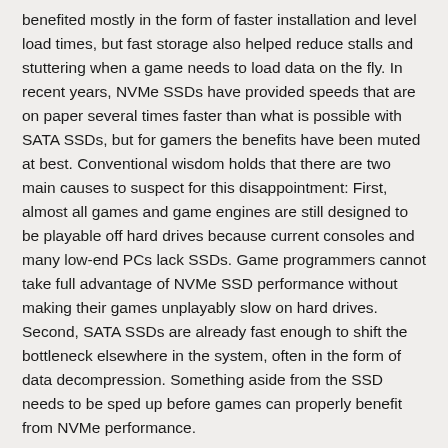benefited mostly in the form of faster installation and level load times, but fast storage also helped reduce stalls and stuttering when a game needs to load data on the fly. In recent years, NVMe SSDs have provided speeds that are on paper several times faster than what is possible with SATA SSDs, but for gamers the benefits have been muted at best. Conventional wisdom holds that there are two main causes to suspect for this disappointment: First, almost all games and game engines are still designed to be playable off hard drives because current consoles and many low-end PCs lack SSDs. Game programmers cannot take full advantage of NVMe SSD performance without making their games unplayably slow on hard drives. Second, SATA SSDs are already fast enough to shift the bottleneck elsewhere in the system, often in the form of data decompression. Something aside from the SSD needs to be sped up before games can properly benefit from NVMe performance.